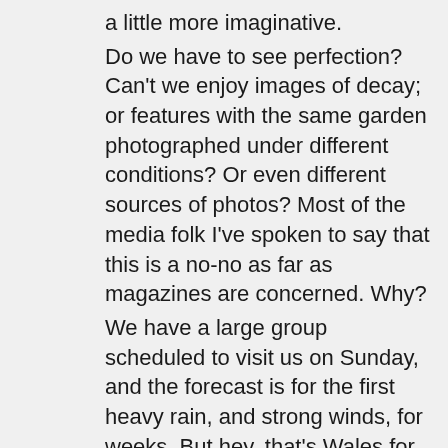a little more imaginative. Do we have to see perfection? Can't we enjoy images of decay; or features with the same garden photographed under different conditions? Or even different sources of photos? Most of the media folk I've spoken to say that this is a no-no as far as magazines are concerned. Why? We have a large group scheduled to visit us on Sunday, and the forecast is for the first heavy rain, and strong winds, for weeks. But hey, that's Wales for you, and I'm sure will enjoy the experience, even if its just warming up by the stove with tea afterwards! Appreciation of gardens is certainly not for